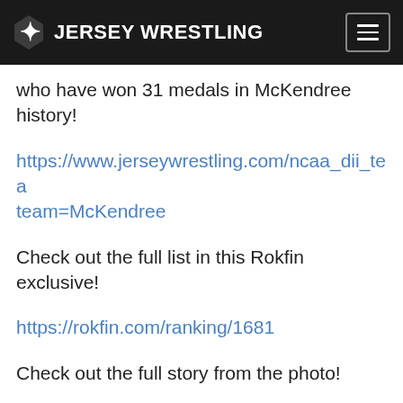JERSEY WRESTLING
who have won 31 medals in McKendree history!
https://www.jerseywrestling.com/ncaa_dii_team=McKendree
Check out the full list in this Rokfin exclusive!
https://rokfin.com/ranking/1681
Check out the full story from the photo!
https://mckreview.com/2017/02/16/behind-